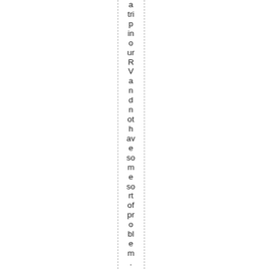a trip in our RV and not have some sort of problem. O n